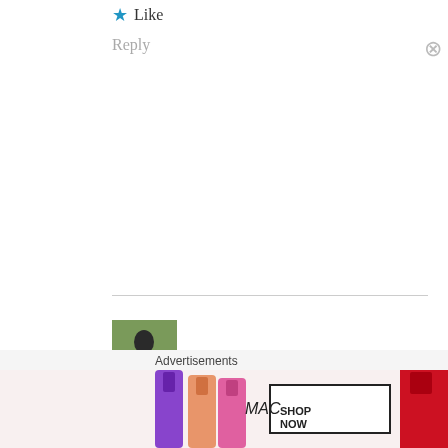★ Like
Reply
[Figure (photo): Avatar photo of Kyle Flores, a person outdoors on grass]
Kyle Flores · October 6, 2020
Portra 400 for Bayer please or something from Provia/Velvia/Astia recipe to make Portra 400. Thanks.
[Figure (illustration): MAC cosmetics advertisement banner showing lipsticks and SHOP NOW button]